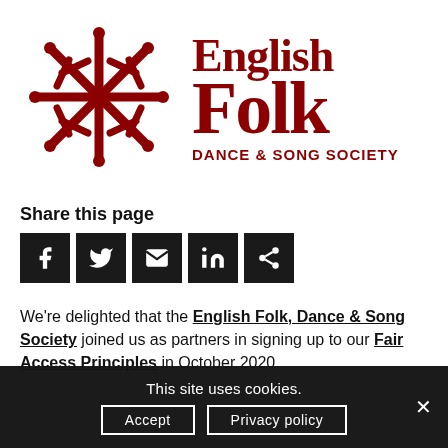[Figure (logo): English Folk Dance & Song Society logo — geometric star/snowflake motif in dark red on the left, with 'English Folk' in large serif bold text and 'DANCE & SONG SOCIETY' in smaller caps on the right, all in dark red.]
Share this page
[Figure (infographic): Row of five dark square social sharing icon buttons: Facebook (f), Twitter (bird), Email (envelope), LinkedIn (in), Share (<)]
We're delighted that the English Folk, Dance & Song Society joined us as partners in signing up to our Fair Access Principles in October 2020.
This site uses cookies.
Accept   Privacy policy